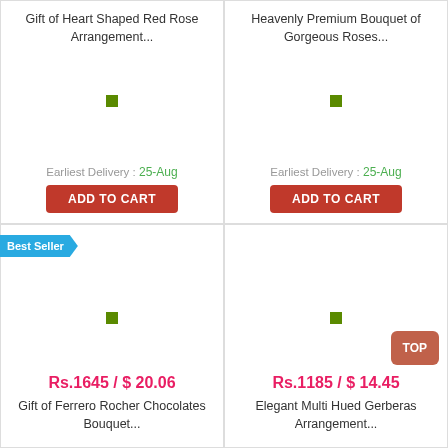Gift of Heart Shaped Red Rose Arrangement...
Earliest Delivery : 25-Aug
ADD TO CART
Heavenly Premium Bouquet of Gorgeous Roses...
Earliest Delivery : 25-Aug
ADD TO CART
Best Seller
Rs.1645 / $ 20.06
Gift of Ferrero Rocher Chocolates Bouquet...
TOP
Rs.1185 / $ 14.45
Elegant Multi Hued Gerberas Arrangement...